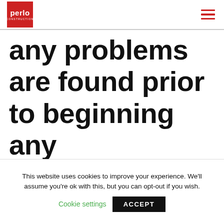[Figure (logo): Perlo Construction logo: red square with white text 'perlo' and 'CONSTRUCTION' below]
any problems are found prior to beginning any assignment. If a problem is encountered while
This website uses cookies to improve your experience. We'll assume you're ok with this, but you can opt-out if you wish.
Cookie settings   ACCEPT